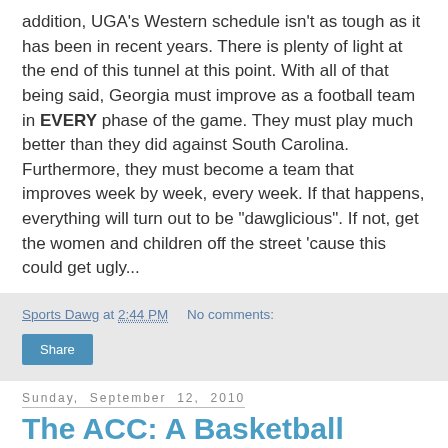addition, UGA's Western schedule isn't as tough as it has been in recent years. There is plenty of light at the end of this tunnel at this point. With all of that being said, Georgia must improve as a football team in EVERY phase of the game. They must play much better than they did against South Carolina. Furthermore, they must become a team that improves week by week, every week. If that happens, everything will turn out to be "dawglicious". If not, get the women and children off the street 'cause this could get ugly...
Sports Dawg at 2:44 PM   No comments:
Share
Sunday, September 12, 2010
The ACC: A Basketball Conference Now More Than Ever
[Figure (photo): Sports photo, partially visible at the bottom of the page]